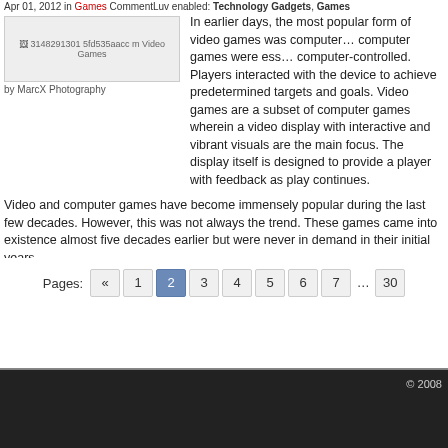Apr 01, 2012 in Games CommentLuv enabled: Technology Gadgets, Games
[Figure (photo): Image placeholder: 3148291301 5fd535aacc m Video Games by MarcX Photography]
In earlier days, the most popular form of video games was computer games. These computer games were essentially computer-controlled. Players interacted with the device to achieve predetermined targets and goals. Video games are a subset of computer games wherein a video display with interactive and vibrant visuals are the main focus. The display itself is designed to provide a player with feedback as play continues.
Video and computer games have become immensely popular during the last few decades. However, this was not always the trend. These games came into existence almost five decades earlier but were never in demand in their initial years.
(more…)
Leave a Comment
Pages: « 1 2 3 4 5 6 7 … 30
© 2008